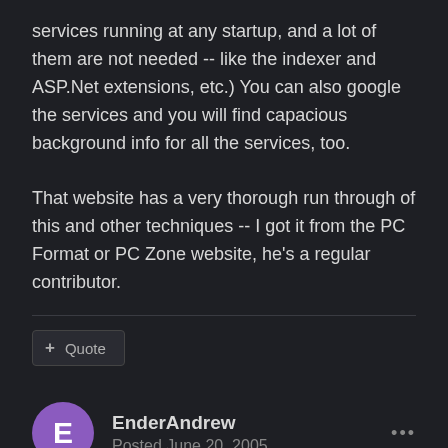services running at any startup, and a lot of them are not needed -- like the indexer and ASP.Net extensions, etc.) You can also google the services and you will find capacious background info for all the services, too.
That website has a very thorough run through of this and other techniques -- I got it from the PC Format or PC Zone website, he's a regular contributor.
+ Quote
EnderAndrew
Posted June 20, 2005